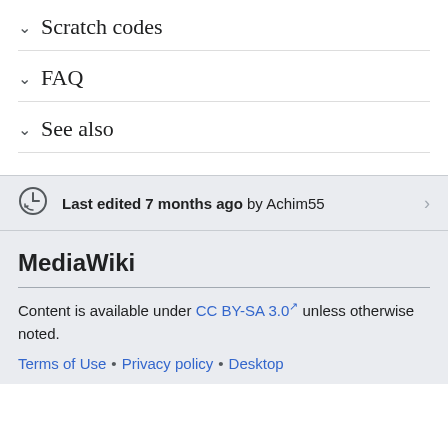Scratch codes
FAQ
See also
Last edited 7 months ago by Achim55
MediaWiki
Content is available under CC BY-SA 3.0 unless otherwise noted.
Terms of Use • Privacy policy • Desktop